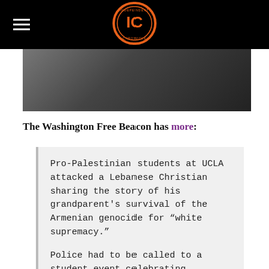[Figure (logo): Black header bar with hamburger menu icon on the left and an orange circular logo with 'IC' letters in the center]
[Figure (photo): A dark photograph showing people at what appears to be an indoor event]
The Washington Free Beacon has more:
Pro-Palestinian students at UCLA attacked a Lebanese Christian sharing the story of his grandparent's survival of the Armenian genocide for “white supremacy.”
Police had to be called to a student event celebrating indigenous peoples Thursday